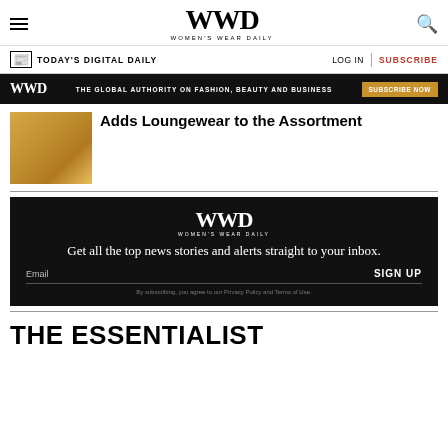WWD WOMEN'S WEAR DAILY
TODAY'S DIGITAL DAILY   LOG IN   SUBSCRIBE
[Figure (infographic): Dark banner: WWD logo, text 'THE GLOBAL AUTHORITY ON FASHION, BEAUTY AND BUSINESS', yellow SUBSCRIBE NOW button]
[Figure (photo): Thumbnail photo of hands holding what appears to be a yellow garment or fabric item]
Adds Loungewear to the Assortment
[Figure (infographic): WWD newsletter signup box: black background, WWD logo, text 'Get all the top news stories and alerts straight to your inbox.', Email input field, SIGN UP button, privacy disclaimer]
THE ESSENTIALIST